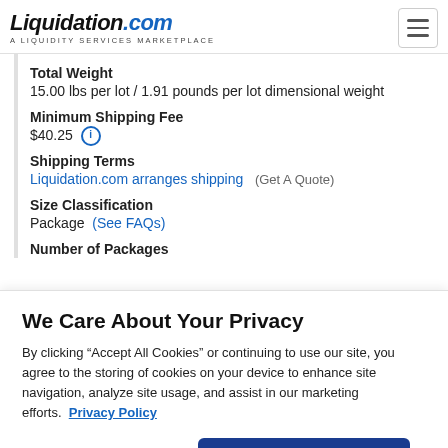Liquidation.com - A Liquidity Services Marketplace
Total Weight
15.00 lbs per lot / 1.91 pounds per lot dimensional weight
Minimum Shipping Fee
$40.25
Shipping Terms
Liquidation.com arranges shipping  (Get A Quote)
Size Classification
Package  (See FAQs)
Number of Packages
We Care About Your Privacy
By clicking “Accept All Cookies” or continuing to use our site, you agree to the storing of cookies on your device to enhance site navigation, analyze site usage, and assist in our marketing efforts.  Privacy Policy
Customize Settings
Accept All Cookies